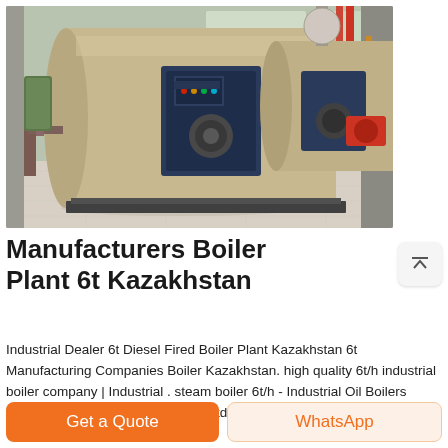[Figure (photo): Industrial boiler room with large horizontal cylindrical steam boilers in beige/tan color with dark blue front panels and burner assemblies, installed in a facility with concrete floor and structural columns]
Manufacturers Boiler Plant 6t Kazakhstan
Industrial Dealer 6t Diesel Fired Boiler Plant Kazakhstan 6t Manufacturing Companies Boiler Kazakhstan. high quality 6t/h industrial boiler company | Industrial . steam boiler 6t/h - Industrial Oil Boilers Manufacturers. Sitong Boiler Co., Ltd was founded in 1978, it i...
Get a Quote
WhatsApp